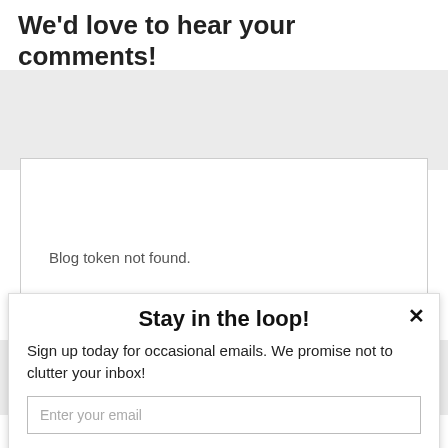We'd love to hear your comments!
Blog token not found.
Stay in the loop!
Sign up today for occasional emails. We promise not to clutter your inbox!
Enter your email